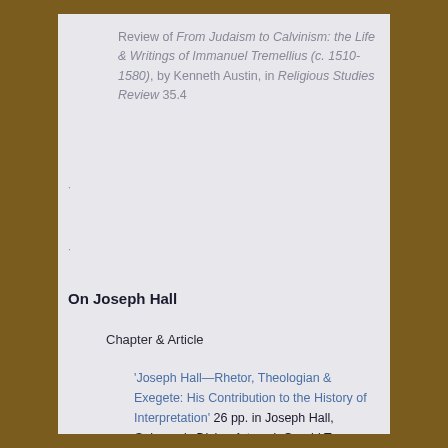Review of From Judaism to Calvinism: the Life & Writings of Immanuel Tremellius (c. 1510-1580), by Kenneth Austin, in Religious Studies Review 35.4
On Joseph Hall
Chapter & Article
'Joseph Hall—Rhetor, Theologian & Exegete: His Contribution to the History of Interpretation'  26 pp.  in Joseph Hall, Solomon's Divine Arts, ed. Gerald T. Sheppard  in Pilgrim Classic Commentaries, vol. 4  Buy  (Cleveland, OH: Pilgrim Press, 1992), pp. 11-37